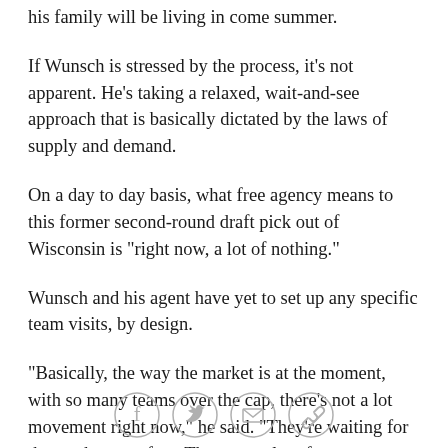his family will be living in come summer.
If Wunsch is stressed by the process, it's not apparent. He's taking a relaxed, wait-and-see approach that is basically dictated by the laws of supply and demand.
On a day to day basis, what free agency means to this former second-round draft pick out of Wisconsin is "right now, a lot of nothing."
Wunsch and his agent have yet to set up any specific team visits, by design.
"Basically, the way the market is at the moment, with so many teams over the cap, there's not a lot movement right now," he said. "They're waiting for the market to soften. There are a lot of guys out there, a lot of guys getting released because of cap issues. So it's
[Figure (other): Social sharing buttons: Facebook, Twitter, Email, Link/Copy]